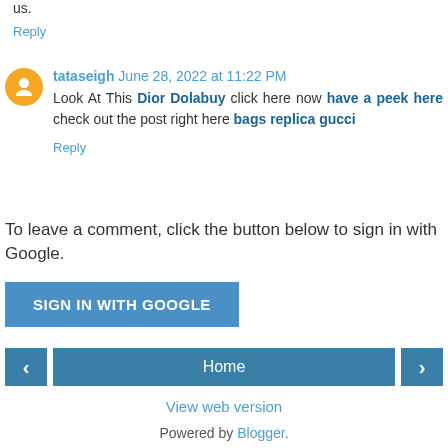us.
Reply
tataseigh June 28, 2022 at 11:22 PM
Look At This Dior Dolabuy click here now have a peek here check out the post right here bags replica gucci
Reply
To leave a comment, click the button below to sign in with Google.
SIGN IN WITH GOOGLE
Home
View web version
Powered by Blogger.